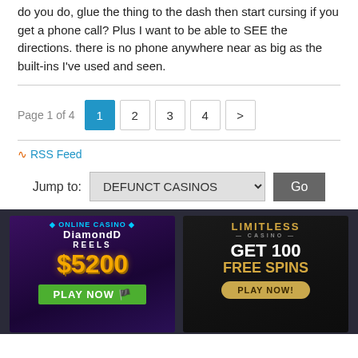do you do, glue the thing to the dash then start cursing if you get a phone call? Plus I want to be able to SEE the directions. there is no phone anywhere near as big as the built-ins I've used and seen.
Page 1 of 4  1  2  3  4  >
RSS Feed
Jump to: DEFUNCT CASINOS  Go
[Figure (illustration): Diamond Reels casino ad: $5200 PLAY NOW]
[Figure (illustration): Limitless Casino ad: GET 100 FREE SPINS PLAY NOW!]